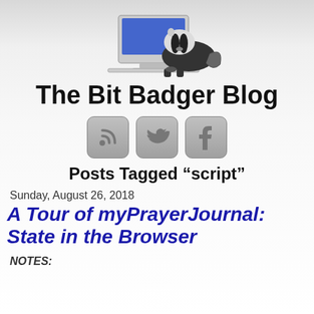[Figure (illustration): A badger sitting at a computer monitor, with the monitor showing a blue screen. The badger is illustrated in a realistic style against a light gray background.]
The Bit Badger Blog
[Figure (illustration): Three social media icon buttons: RSS feed icon, Twitter bird icon, and Facebook 'f' icon, each in a rounded gray square button style.]
Posts Tagged “script”
Sunday, August 26, 2018
A Tour of myPrayerJournal: State in the Browser
NOTES: